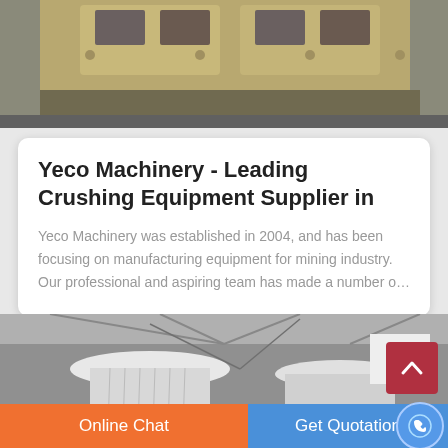[Figure (photo): Industrial crushing equipment (yellow/beige machine) in a factory setting, partial top view]
Yeco Machinery - Leading Crushing Equipment Supplier in
Yeco Machinery was established in 2004, and has been focusing on manufacturing equipment for mining industry. Our professional and aspiring team has made a number o…
[Figure (photo): White industrial cone crushing machines inside a large factory warehouse with steel roof structure]